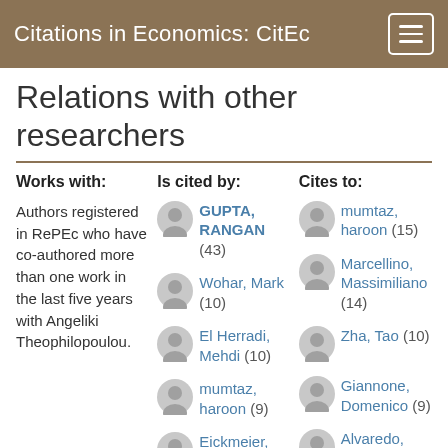Citations in Economics: CitEc
Relations with other researchers
Works with:
Authors registered in RePEc who have co-authored more than one work in the last five years with Angeliki Theophilopoulou.
Is cited by:
GUPTA, RANGAN (43)
Wohar, Mark (10)
El Herradi, Mehdi (10)
mumtaz, haroon (9)
Eickmeier, Sandra (9)
Castelnuovo, Efrem (7)
Cites to:
mumtaz, haroon (15)
Marcellino, Massimiliano (14)
Zha, Tao (10)
Giannone, Domenico (9)
Alvaredo, Facundo (9)
Lenza, Michele (8)
Reichlin, ...